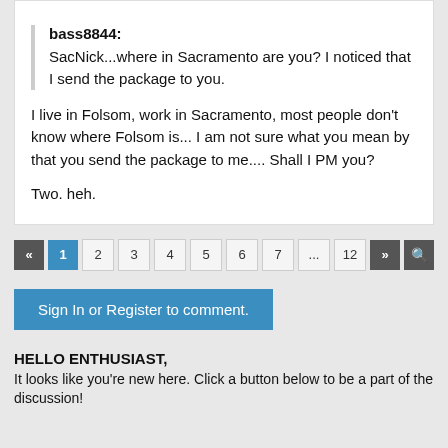bass8844: SacNick...where in Sacramento are you? I noticed that I send the package to you.
I live in Folsom, work in Sacramento, most people don't know where Folsom is... I am not sure what you mean by that you send the package to me.... Shall I PM you?
Two. heh.
« 1 2 3 4 5 6 7 ... 12 »
Sign In or Register to comment.
HELLO ENTHUSIAST,
It looks like you're new here. Click a button below to be a part of the discussion!